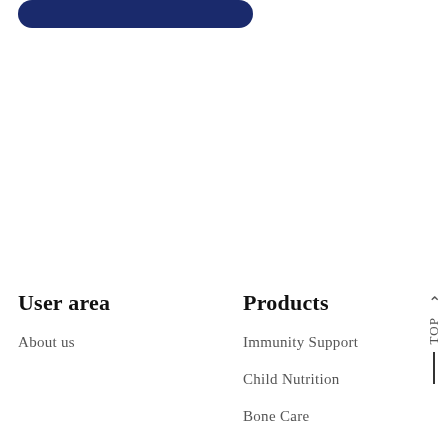[Figure (other): Dark navy blue rounded rectangle button at top of page]
User area
Products
About us
Immunity Support
Child Nutrition
Bone Care
Women Health